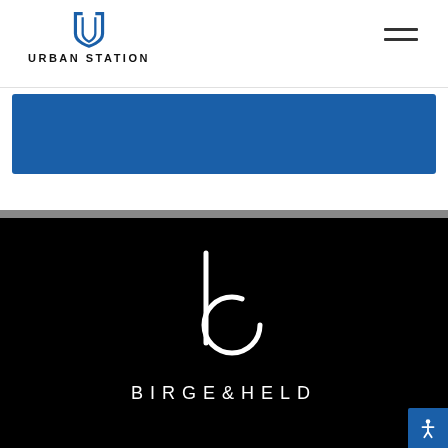[Figure (logo): Urban Station logo: shield/U shape icon above text URBAN STATION in bold uppercase letters]
[Figure (other): Hamburger menu icon with two horizontal lines]
[Figure (other): Blue rectangular banner/header bar]
[Figure (logo): Birge & Held logo on black background: lowercase b letterform made of a vertical line and circle, with text BIRGE&HELD in white uppercase spaced letters below]